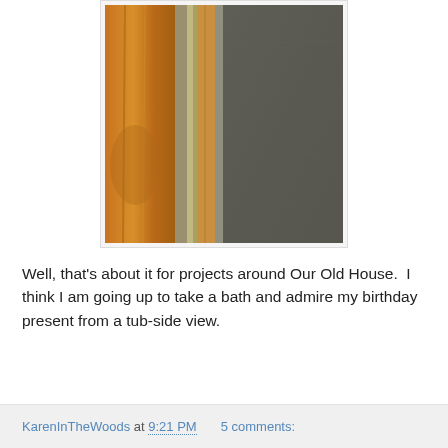[Figure (photo): Close-up photo of a wooden frame with gold/bronze molding next to a dark slate or stone surface, likely a mirror frame in a bathroom setting.]
Well, that's about it for projects around Our Old House.  I think I am going up to take a bath and admire my birthday present from a tub-side view.
KarenInTheWoods at 9:21 PM    5 comments: